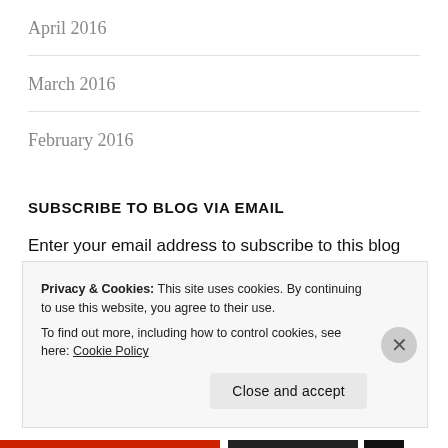April 2016
March 2016
February 2016
SUBSCRIBE TO BLOG VIA EMAIL
Enter your email address to subscribe to this blog and receive notifications of new posts by email.
Privacy & Cookies: This site uses cookies. By continuing to use this website, you agree to their use.
To find out more, including how to control cookies, see here: Cookie Policy
Close and accept